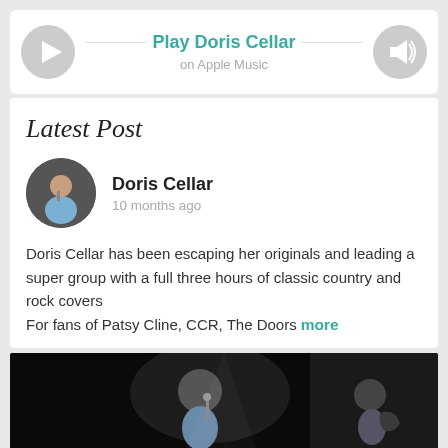[Figure (other): Apple Music player widget with play button icon on the left, 'Play Doris Cellar on Apple Music' text in center, and speaker icon on the right]
Latest Post
[Figure (photo): Circular avatar photo of Doris Cellar, a woman in a blue dress singing into a microphone]
Doris Cellar
10 months ago
Doris Cellar has been escaping her originals and leading a super group with a full three hours of classic country and rock covers
For fans of Patsy Cline, CCR, The Doors more
[Figure (photo): Dark concert photo showing a performer singing into a microphone on stage with a blue-shirted performer and guitar visible in background]